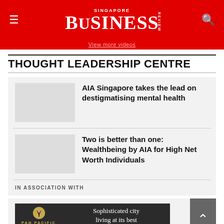Singapore Business Review
View more videos
THOUGHT LEADERSHIP CENTRE
AIA Singapore takes the lead on destigmatising mental health
Two is better than one: Wealthbeing by AIA for High Net Worth Individuals
IN ASSOCIATION WITH
[Figure (advertisement): Pan Pacific Serviced Suites Orchard Singapore advertisement banner: dark background with gold palm logo, text 'Sophisticated city living at its best']